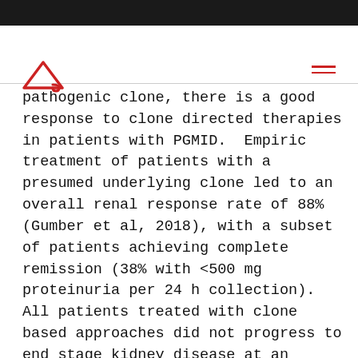pathogenic clone, there is a good response to clone directed therapies in patients with PGMID. Empiric treatment of patients with a presumed underlying clone led to an overall renal response rate of 88% (Gumber et al, 2018), with a subset of patients achieving complete remission (38% with <500 mg proteinuria per 24 h collection). All patients treated with clone based approaches did not progress to end stage kidney disease at an average of 2 years of follow up, although long-term outcomes are not yet known.